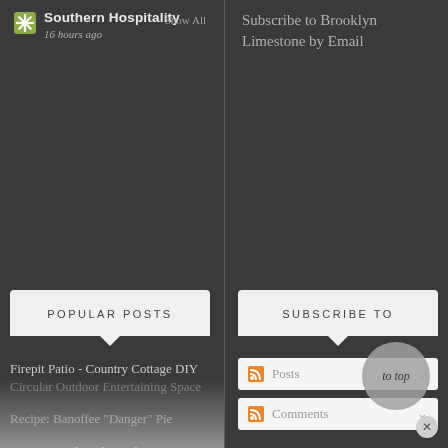Southern Hospitality
16 hours ago
Show All
Subscribe to Brooklyn Limestone by Email
POPULAR POSTS
Firepit Patio - Country Cottage DIY Circular Outdoor Entertaining Space
Recipe: Banoffee "Danger" Pie
DIY: Vertical Herb Garden
Make a Secret Log Box
Gingerbread House
SUBSCRIBE TO
Posts
Comments
AS SEEN ON...
apartment therapy
design sponge
design with dignity
to top